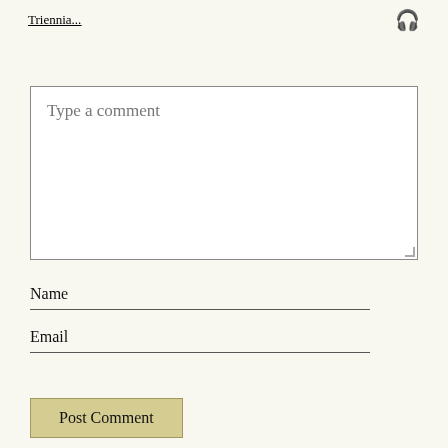Triennia...
Type a comment
Name
Email
Post Comment